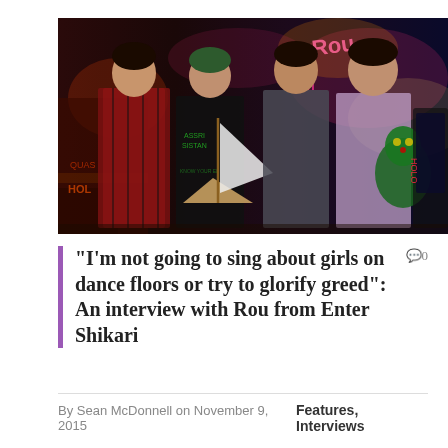[Figure (photo): Four young men posing together in a colorful neon-lit venue. The man on the left wears a red and black plaid shirt and holds what appears to be a toy or prop. The second man from left wears a black t-shirt with text and holds a model sailboat. The third man wears a grey jacket. The man on the right wears a light purple t-shirt and holds a decorative green figurine. The background features bright neon signs in pink, yellow, and green.]
“I’m not going to sing about girls on dance floors or try to glorify greed”: An interview with Rou from Enter Shikari
By Sean McDonnell on November 9, 2015
Features, Interviews